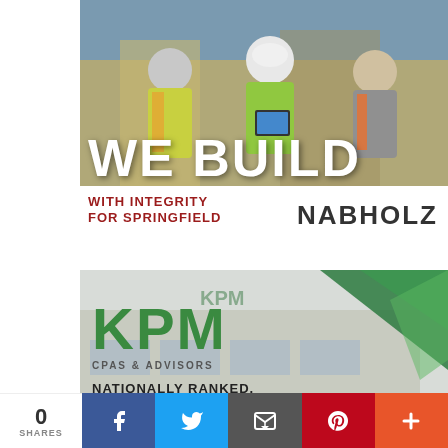[Figure (photo): Construction workers in high-visibility vests and hard hats looking at a tablet at a job site, with large 'WE BUILD' text overlaid in white at the bottom of the image]
WITH INTEGRITY
FOR SPRINGFIELD
NABHOLZ
[Figure (photo): KPM CPAs & Advisors advertisement showing the KPM building exterior with green triangle logo, KPM text in green, and tagline 'NATIONALLY RANKED, LOCALLY INVESTED']
KPM
CPAS & ADVISORS
NATIONALLY RANKED,
LOCALLY INVESTED